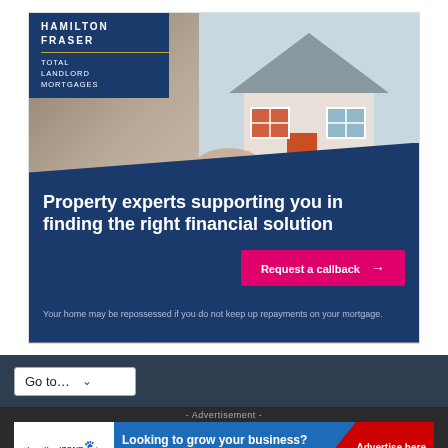[Figure (infographic): Hamilton Fraser Total Landlord Mortgages advertisement. Dark navy banner with white text: 'Property experts supporting you in finding the right financial solution'. Pink call-to-action button 'Request a callback →'. Disclaimer: 'Your home may be repossessed if you do not keep up repayments on your mortgage.' Background shows a hand holding a miniature house model.]
[Figure (screenshot): Navigation dropdown selector on dark navy background reading 'Go to...' with a chevron dropdown indicator.]
- Advertisement -
[Figure (infographic): LandlordZONE advertisement banner. Blue background with text: 'Looking to grow your business?' and 'Get your business in front of over 500,000 monthly readers'. Red diagonal corner section with 'Advertise here'. LandlordZONE logo on white left panel.]